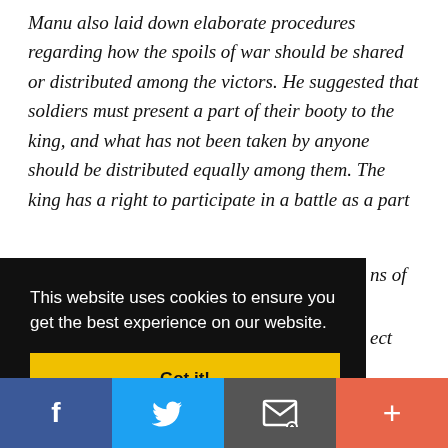Manu also laid down elaborate procedures regarding how the spoils of war should be shared or distributed among the victors. He suggested that soldiers must present a part of their booty to the king, and what has not been taken by anyone should be distributed equally among them. The king has a right to participate in a battle as a part …ns of …ect …le
This website uses cookies to ensure you get the best experience on our website.
Got it!
[Figure (infographic): Social media share bar with Facebook, Twitter, email/envelope, and plus icons]